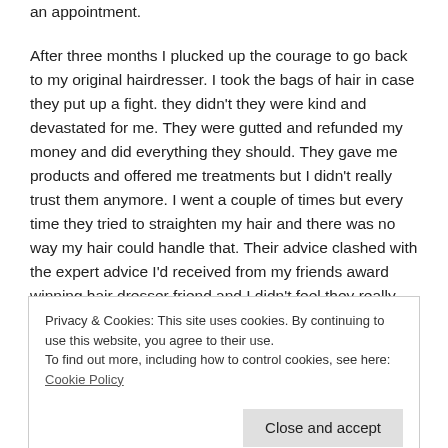an appointment.
After three months I plucked up the courage to go back to my original hairdresser. I took the bags of hair in case they put up a fight. they didn't they were kind and devastated for me. They were gutted and refunded my money and did everything they should. They gave me products and offered me treatments but I didn't really trust them anymore. I went a couple of times but every time they tried to straighten my hair and there was no way my hair could handle that. Their advice clashed with the expert advice I'd received from my friends award winning hair dresser friend and I didn't feel they really knew their stuff. I decided to cut my losses and not return.
Privacy & Cookies: This site uses cookies. By continuing to use this website, you agree to their use.
To find out more, including how to control cookies, see here: Cookie Policy
Close and accept
...